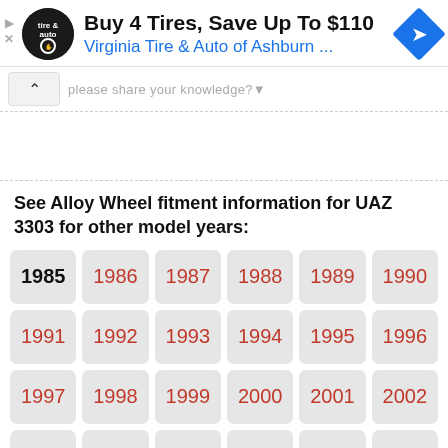[Figure (logo): Virginia Tire & Auto advertisement banner with logo, headline 'Buy 4 Tires, Save Up To $110', subtitle 'Virginia Tire & Auto of Ashburn ...', and blue diamond arrow icon]
please share your knowledge?
See Alloy Wheel fitment information for UAZ 3303 for other model years:
| 1985 | 1986 | 1987 | 1988 | 1989 | 1990 |
| 1991 | 1992 | 1993 | 1994 | 1995 | 1996 |
| 1997 | 1998 | 1999 | 2000 | 2001 | 2002 |
| 2003 | 2004 | 2005 | 2006 | 2007 | 2008 |